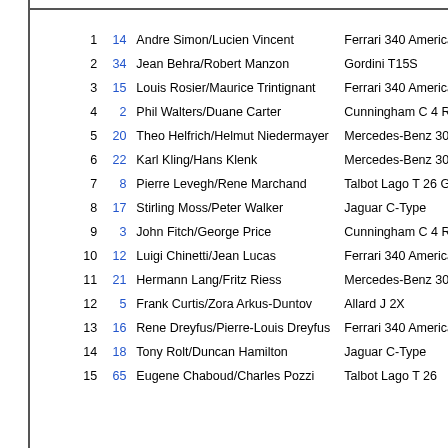| Pos | No. | Drivers | Car |
| --- | --- | --- | --- |
| 1 | 14 | Andre Simon/Lucien Vincent | Ferrari 340 America |
| 2 | 34 | Jean Behra/Robert Manzon | Gordini T15S |
| 3 | 15 | Louis Rosier/Maurice Trintignant | Ferrari 340 America |
| 4 | 2 | Phil Walters/Duane Carter | Cunningham C 4 RK |
| 5 | 20 | Theo Helfrich/Helmut Niedermayer | Mercedes-Benz 300 SL |
| 6 | 22 | Karl Kling/Hans Klenk | Mercedes-Benz 300 SL |
| 7 | 8 | Pierre Levegh/Rene Marchand | Talbot Lago T 26 GS Spi |
| 8 | 17 | Stirling Moss/Peter Walker | Jaguar C-Type |
| 9 | 3 | John Fitch/George Price | Cunningham C 4 RK |
| 10 | 12 | Luigi Chinetti/Jean Lucas | Ferrari 340 America |
| 11 | 21 | Hermann Lang/Fritz Riess | Mercedes-Benz 300 SL |
| 12 | 5 | Frank Curtis/Zora Arkus-Duntov | Allard J 2X |
| 13 | 16 | Rene Dreyfus/Pierre-Louis Dreyfus | Ferrari 340 America |
| 14 | 18 | Tony Rolt/Duncan Hamilton | Jaguar C-Type |
| 15 | 65 | Eugene Chaboud/Charles Pozzi | Talbot Lago T 26 |